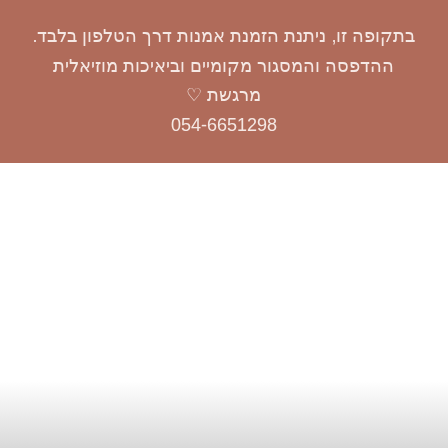בתקופה זו, ניתנת הזמנת אמנות דרך הטלפון בלבד. ההדפסה והמסגור מקומיים וביאיכות מוזיאלית מרגשת ♡ 054-6651298
[Figure (other): Navigation bar with left and right arrows and four pagination dots (first dot filled white, rest outlined)]